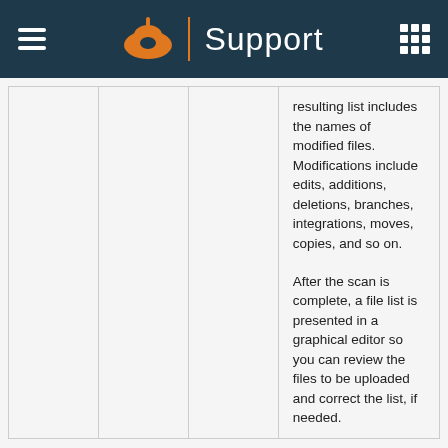Support
|  |  |  | resulting list includes the names of modified files. Modifications include edits, additions, deletions, branches, integrations, moves, copies, and so on.

After the scan is complete, a file list is presented in a graphical editor so you can review the files to be uploaded and correct the list, if needed. |